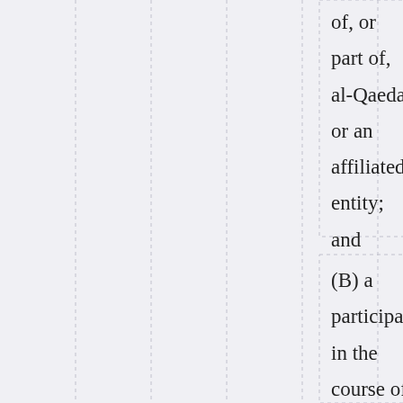of, or part of, al-Qaeda or an affiliated entity; and
(B) a participant in the course of planning